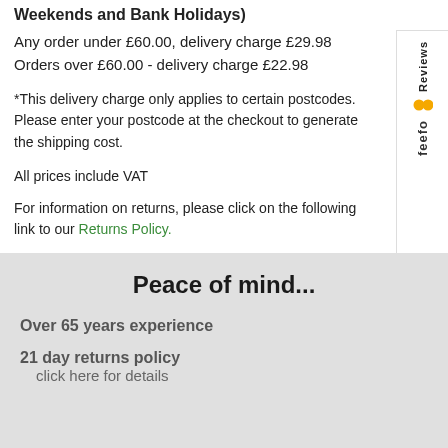Weekends and Bank Holidays)
Any order under £60.00, delivery charge £29.98
Orders over £60.00 - delivery charge £22.98
*This delivery charge only applies to certain postcodes. Please enter your postcode at the checkout to generate the shipping cost.
All prices include VAT
For information on returns, please click on the following link to our Returns Policy.
Peace of mind...
Over 65 years experience
21 day returns policy
 click here for details